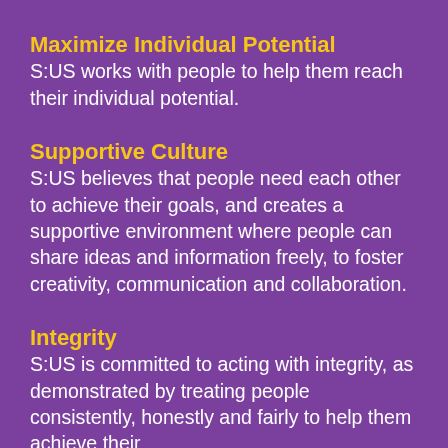Maximize Individual Potential
S:US works with people to help them reach their individual potential.
Supportive Culture
S:US believes that people need each other to achieve their goals, and creates a supportive environment where people can share ideas and information freely, to foster creativity, communication and collaboration.
Integrity
S:US is committed to acting with integrity, as demonstrated by treating people consistently, honestly and fairly to help them achieve their